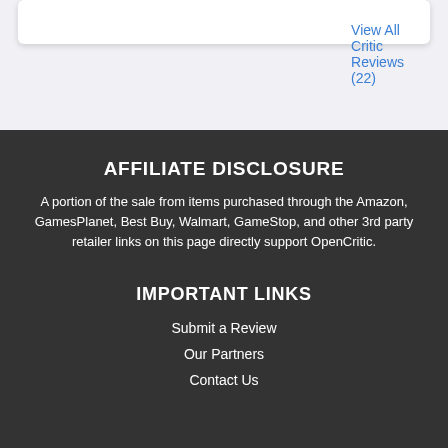View All Critic Reviews (22)
AFFILIATE DISCLOSURE
A portion of the sale from items purchased through the Amazon, GamesPlanet, Best Buy, Walmart, GameStop, and other 3rd party retailer links on this page directly support OpenCritic.
IMPORTANT LINKS
Submit a Review
Our Partners
Contact Us